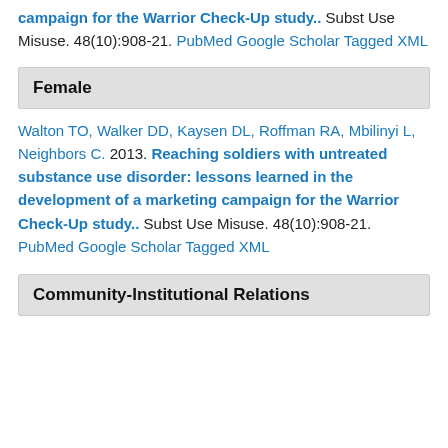campaign for the Warrior Check-Up study.. Subst Use Misuse. 48(10):908-21. PubMed Google Scholar Tagged XML
Female
Walton TO, Walker DD, Kaysen DL, Roffman RA, Mbilinyi L, Neighbors C. 2013. Reaching soldiers with untreated substance use disorder: lessons learned in the development of a marketing campaign for the Warrior Check-Up study.. Subst Use Misuse. 48(10):908-21. PubMed Google Scholar Tagged XML
Community-Institutional Relations